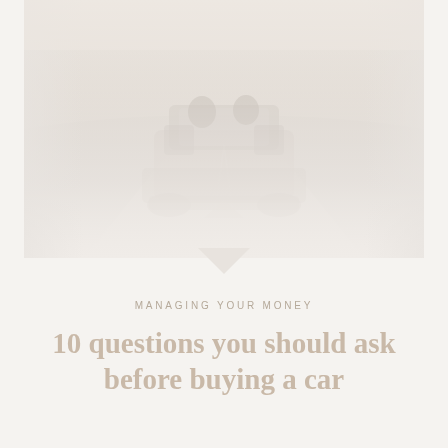[Figure (photo): Faded/washed-out photograph of a convertible car seen from behind, with passengers, driving on an open road. The image is very light and desaturated, blending into a light cream background.]
MANAGING YOUR MONEY
10 questions you should ask before buying a car